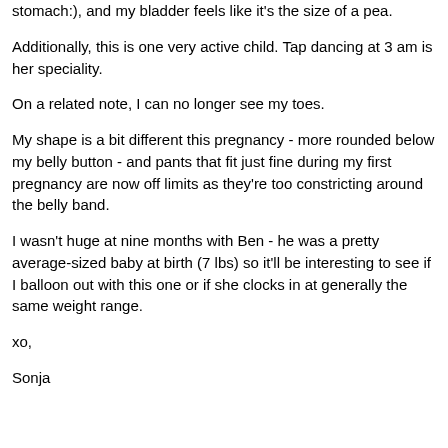stomach:), and my bladder feels like it's the size of a pea.
Additionally, this is one very active child. Tap dancing at 3 am is her speciality.
On a related note, I can no longer see my toes.
My shape is a bit different this pregnancy - more rounded below my belly button - and pants that fit just fine during my first pregnancy are now off limits as they're too constricting around the belly band.
I wasn't huge at nine months with Ben - he was a pretty average-sized baby at birth (7 lbs) so it'll be interesting to see if I balloon out with this one or if she clocks in at generally the same weight range.
xo,
Sonja